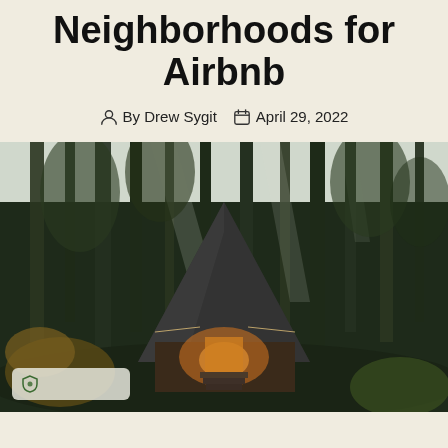Neighborhoods for Airbnb
By Drew Sygit   April 29, 2022
[Figure (photo): A-frame cabin with steep dark angular roof surrounded by tall trees in a forest, warm light glowing from inside the entrance, steps leading up to the door, autumn foliage visible.]